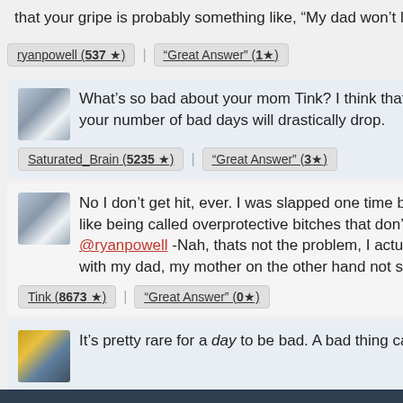that your gripe is probably something like, “My dad won’t let me go on a date.” That is there call.
ryanpowell (537 ★)  “Great Answer” (1★)
What’s so bad about your mom Tink? I think that that’s the core issue here. Solve that and your number of bad days will drastically drop.
Saturated_Brain (5235 ★)  “Great Answer” (3★)
No I don’t get hit, ever. I was slapped one time but I might have deserved it; mothers don’t like being called overprotective bitches that don’t do anything but nag all fucken day @ryanpowell -Nah, thats not the problem, I actually have a good father-daughter relationship with my dad, my mother on the other hand not so much
Tink (8673 ★)  “Great Answer” (0★)
It’s pretty rare for a day to be bad. A bad thing can happen, or even several, and